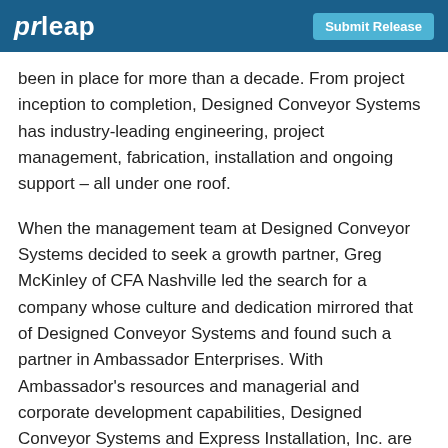prleap | Submit Release
been in place for more than a decade. From project inception to completion, Designed Conveyor Systems has industry-leading engineering, project management, fabrication, installation and ongoing support – all under one roof.
When the management team at Designed Conveyor Systems decided to seek a growth partner, Greg McKinley of CFA Nashville led the search for a company whose culture and dedication mirrored that of Designed Conveyor Systems and found such a partner in Ambassador Enterprises. With Ambassador's resources and managerial and corporate development capabilities, Designed Conveyor Systems and Express Installation, Inc. are better positioned for future growth.